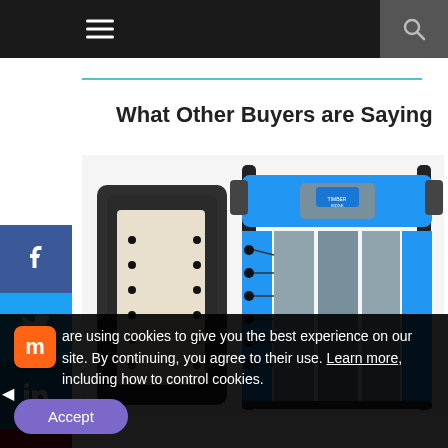Navigation bar with hamburger menu and search icon
What Other Buyers are Saying
[Figure (photo): A blue and grey folding zero-gravity recliner chair with black metal frame, shown from behind, with a headrest pillow and bungee cord back support. The chair appears folded on the left side and open on the right side. A Timber Ridge logo is visible on the headrest.]
are using cookies to give you the best experience on our site. By continuing, you agree to their use. Learn more, including how to control cookies.